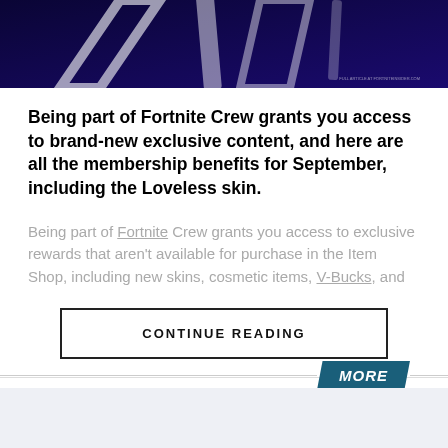[Figure (photo): Dark blue/purple hero banner with white abstract geometric shapes (Fortnite-style branding)]
Being part of Fortnite Crew grants you access to brand-new exclusive content, and here are all the membership benefits for September, including the Loveless skin.
Being part of Fortnite Crew grants you access to exclusive rewards that aren't available for purchase in the Item Shop, including new skins, cosmetic items, V-Bucks, and
CONTINUE READING
MORE